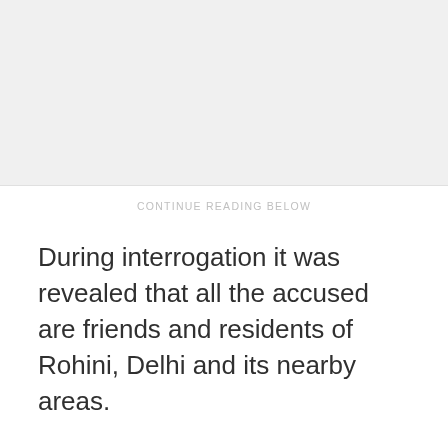[Figure (other): Advertisement placeholder area with light gray background]
CONTINUE READING BELOW
During interrogation it was revealed that all the accused are friends and residents of Rohini, Delhi and its nearby areas.
It was revealed that one of the accused Sunny Kumar Singh works in Credit Card Selling department of a reputed Bank at Ambience Mall in Rohini and has the access to records of